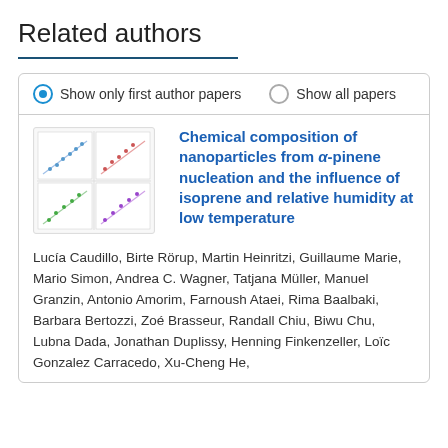Related authors
Show only first author papers  Show all papers
[Figure (other): Thumbnail image of a scientific paper showing four panel plots with scatter data]
Chemical composition of nanoparticles from α-pinene nucleation and the influence of isoprene and relative humidity at low temperature
Lucía Caudillo, Birte Rörup, Martin Heinritzi, Guillaume Marie, Mario Simon, Andrea C. Wagner, Tatjana Müller, Manuel Granzin, Antonio Amorim, Farnoush Ataei, Rima Baalbaki, Barbara Bertozzi, Zoé Brasseur, Randall Chiu, Biwu Chu, Lubna Dada, Jonathan Duplissy, Henning Finkenzeller, Loïc Gonzalez Carracedo, Xu-Cheng He,